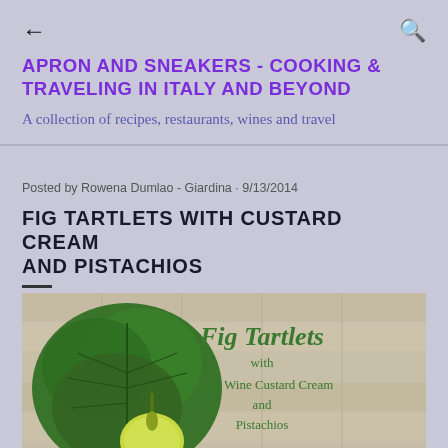← (back arrow)  🔍 (search icon)
APRON AND SNEAKERS - COOKING & TRAVELING IN ITALY AND BEYOND
A collection of recipes, restaurants, wines and travel
Posted by Rowena Dumlao - Giardina · 9/13/2014
FIG TARTLETS WITH CUSTARD CREAM AND PISTACHIOS
[Figure (photo): Photo of fig and fig leaf on wooden surface, with text overlay reading 'Fig Tartlets with Straw Wine Custard Cream and Pistachios']